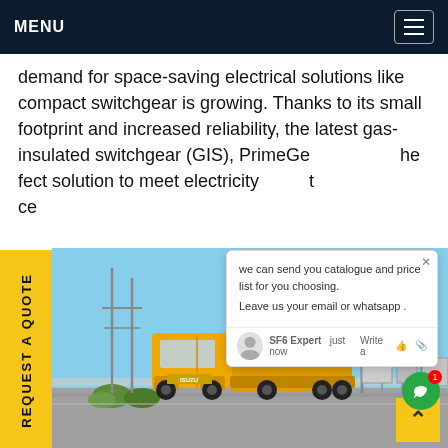MENU
demand for space-saving electrical solutions like compact switchgear is growing. Thanks to its small footprint and increased reliability, the latest gas-insulated switchgear (GIS), PrimeGear, is the perfect solution to meet electricity demand and ce
we can send you catalogue and price list for you choosing. Leave us your email or whatsapp .
SF6 Expert   just now
Write a
[Figure (photo): Yellow ISUZU truck at an electrical substation with overhead power lines and transformers in the background, clear blue sky]
REQUEST A QUOTE